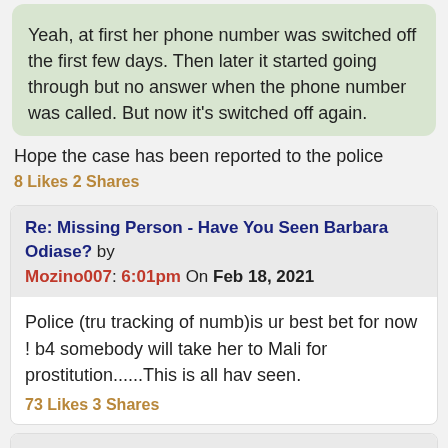Yeah, at first her phone number was switched off the first few days. Then later it started going through but no answer when the phone number was called. But now it's switched off again.
Hope the case has been reported to the police
8 Likes 2 Shares
Re: Missing Person - Have You Seen Barbara Odiase? by Mozino007: 6:01pm On Feb 18, 2021
Police (tru tracking of numb)is ur best bet for now ! b4 somebody will take her to Mali for prostitution......This is all hav seen.
73 Likes 3 Shares
Re: Missing Person - Have You Seen Barbara Odiase? by Kayberg: 6:18pm On Feb 18, 2021
May she be found...